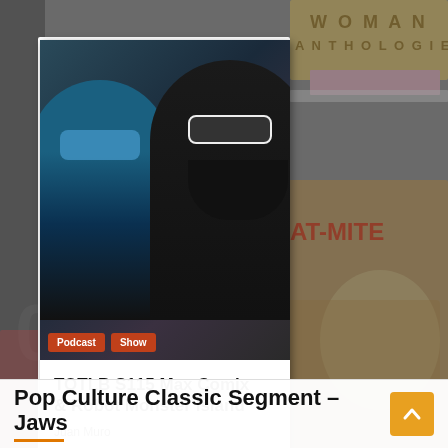[Figure (photo): Background showing comic books stacked, including Wonder Woman Anthologie and Bat-Mite covers, overlaid with a card showing two people wearing sunglasses in a vehicle]
Podcast
Show
TOTLB S115 Max Comix & Robot Monster Island
Juan Muro
Pop Culture Classic Segment – Jaws